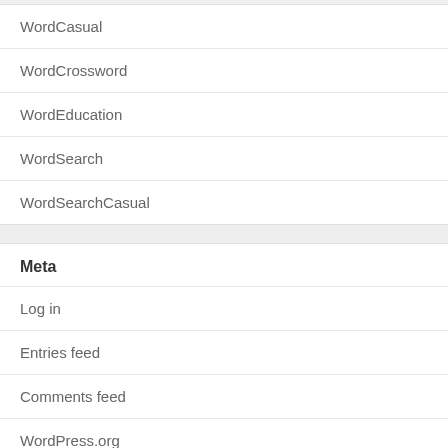WordCasual
WordCrossword
WordEducation
WordSearch
WordSearchCasual
Meta
Log in
Entries feed
Comments feed
WordPress.org
Copyright© 2020 AforAPK